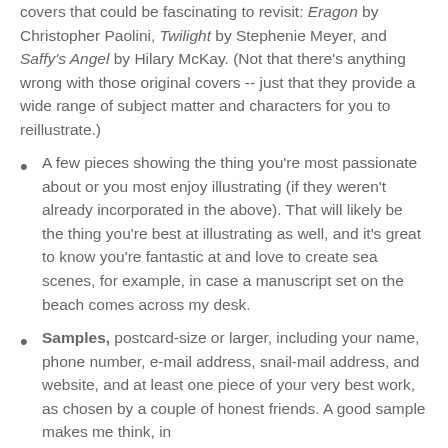covers that could be fascinating to revisit: Eragon by Christopher Paolini, Twilight by Stephenie Meyer, and Saffy's Angel by Hilary McKay. (Not that there's anything wrong with those original covers -- just that they provide a wide range of subject matter and characters for you to reillustrate.)
A few pieces showing the thing you're most passionate about or you most enjoy illustrating (if they weren't already incorporated in the above). That will likely be the thing you're best at illustrating as well, and it's great to know you're fantastic at and love to create sea scenes, for example, in case a manuscript set on the beach comes across my desk.
Samples, postcard-size or larger, including your name, phone number, e-mail address, snail-mail address, and website, and at least one piece of your very best work, as chosen by a couple of honest friends. A good sample makes me think, in